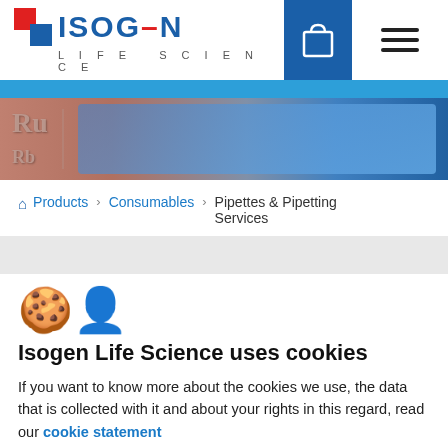[Figure (logo): Isogen Life Science logo with red and blue squares and ISOGEN text]
[Figure (photo): Hero image showing periodic table elements and laboratory glassware with blue/red color theme]
Products > Consumables > Pipettes & Pipetting Services
[Figure (illustration): Cookie emoji icon]
Isogen Life Science uses cookies
If you want to know more about the cookies we use, the data that is collected with it and about your rights in this regard, read our cookie statement